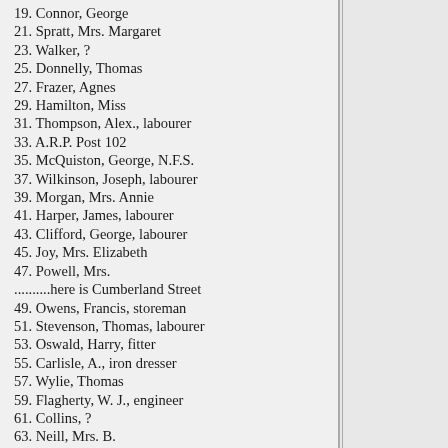19. Connor, George
21. Spratt, Mrs. Margaret
23. Walker, ?
25. Donnelly, Thomas
27. Frazer, Agnes
29. Hamilton, Miss
31. Thompson, Alex., labourer
33. A.R.P. Post 102
35. McQuiston, George, N.F.S.
37. Wilkinson, Joseph, labourer
39. Morgan, Mrs. Annie
41. Harper, James, labourer
43. Clifford, George, labourer
45. Joy, Mrs. Elizabeth
47. Powell, Mrs.
..........here is Cumberland Street
49. Owens, Francis, storeman
51. Stevenson, Thomas, labourer
53. Oswald, Harry, fitter
55. Carlisle, A., iron dresser
57. Wylie, Thomas
59. Flagherty, W. J., engineer
61. Collins, ?
63. Neill, Mrs. B.
65. Martin, M., bar man